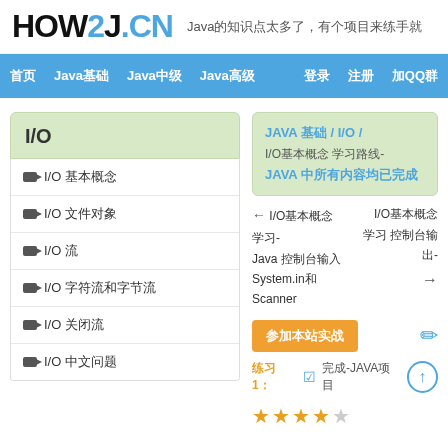HOW2J.CN  Java的知识点太多了，有个项目来练手就
首页  Java基础  Java中级  Java高级  登录  注册  加QQ群
I/O
I/O 基本概念
I/O 文件对象
I/O 流
I/O 字符流和字节流
I/O 关闭流
I/O 中文问题
JAVA 基础 / I/O / I/O基本概念 学习路线- JAVA 中所有内容均已完成
← I/O基本概念 学习- Java 控制台输入 System.in和 Scanner  I/O基本概念 学习- 控制台输出 →
参加本站实战
练习 1 :  完成-JAVA项目
★★★★☆